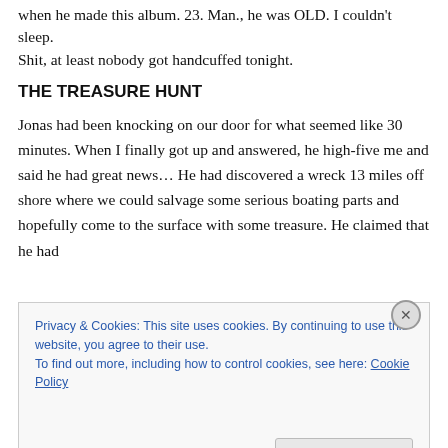when he made this album. 23. Man., he was OLD. I couldn't sleep.
Shit, at least nobody got handcuffed tonight.
THE TREASURE HUNT
Jonas had been knocking on our door for what seemed like 30 minutes. When I finally got up and answered, he high-five me and said he had great news… He had discovered a wreck 13 miles off shore where we could salvage some serious boating parts and hopefully come to the surface with some treasure. He claimed that he had
Privacy & Cookies: This site uses cookies. By continuing to use this website, you agree to their use.
To find out more, including how to control cookies, see here: Cookie Policy
Close and accept